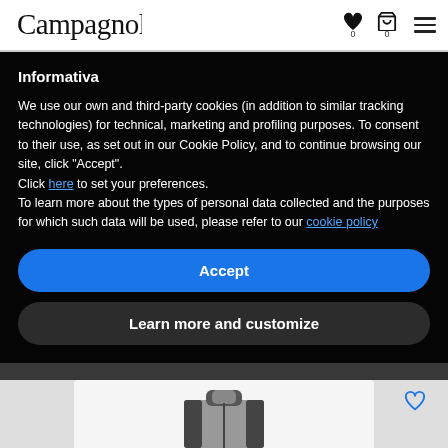Campagnolo logo with heart icon (0), cart icon (0), and hamburger menu
Informativa
We use our own and third-party cookies (in addition to similar tracking technologies) for technical, marketing and profiling purposes. To consent to their use, as set out in our Cookie Policy, and to continue browsing our site, click "Accept".
Click here to set your preferences.
To learn more about the types of personal data collected and the purposes for which such data will be used, please refer to our cookie policy
Accept
Learn more and customize
[Figure (photo): Partial view of a grey and black cycling jacket/jersey at the bottom of the page]